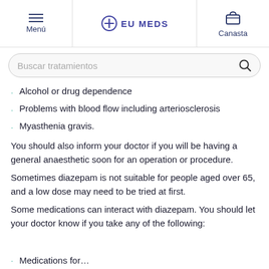Menú | EU MEDS | Canasta
Buscar tratamientos
Alcohol or drug dependence
Problems with blood flow including arteriosclerosis
Myasthenia gravis.
You should also inform your doctor if you will be having a general anaesthetic soon for an operation or procedure.
Sometimes diazepam is not suitable for people aged over 65, and a low dose may need to be tried at first.
Some medications can interact with diazepam. You should let your doctor know if you take any of the following:
Medications for…